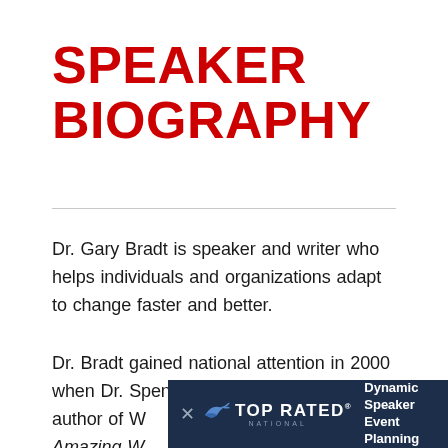SPEAKER BIOGRAPHY
Dr. Gary Bradt is speaker and writer who helps individuals and organizations adapt to change faster and better.
Dr. Bradt gained national attention in 2000 when Dr. Spencer Johnson, the renowned author of W... Amazing W...
[Figure (infographic): Top Rated National banner advertisement with bird logo, 'TOP RATED NATIONAL' text, 'Dynamic Speaker Event Planning' tagline, and close (X) button]